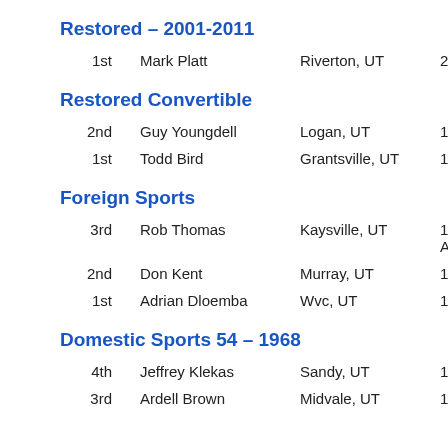Restored – 2001-2011
1st  Mark Platt  Riverton, UT  2
Restored Convertible
2nd  Guy Youngdell  Logan, UT  1
1st  Todd Bird  Grantsville, UT  1
Foreign Sports
3rd  Rob Thomas  Kaysville, UT  1  A
2nd  Don Kent  Murray, UT  1
1st  Adrian Dloemba  Wvc, UT  1
Domestic Sports 54 – 1968
4th  Jeffrey Klekas  Sandy, UT  1
3rd  Ardell Brown  Midvale, UT  1